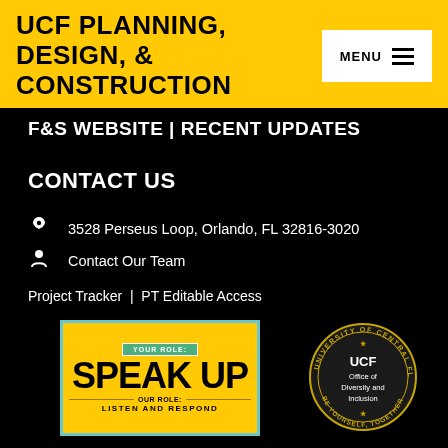UCF PLANNING, DESIGN, & CONSTRUCTION
F&S WEBSITE | RECENT UPDATES
CONTACT US
3528 Perseus Loop, Orlando, FL 32816-3020
Contact Our Team
Project Tracker | PT Editable Access
[Figure (illustration): Speak Up card: yellow background with teal border, green badge 'YOUR ROLE:', large text 'SPEAK UP', 'OUR ROLE:' divider, 'LISTEN AND RESPOND']
[Figure (logo): UCF Office of Diversity and Inclusion circular seal with text 'UNIVERSITY OF CENTRAL FLORIDA' around the edge and 'BE YOURSELF, TOGETHER' at the bottom]